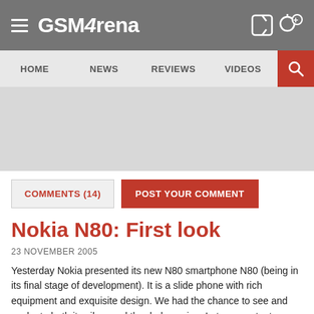GSMArena
HOME  NEWS  REVIEWS  VIDEOS
[Figure (other): Gray advertisement/banner area]
COMMENTS (14)   POST YOUR COMMENT
Nokia N80: First look
23 NOVEMBER 2005
Yesterday Nokia presented its new N80 smartphone N80 (being in its final stage of development). It is a slide phone with rich equipment and exquisite design. We had the chance to see and evaluate both its silver and the dark version. Let us now try to describe our impressions and provide you with several dozens of live photos.